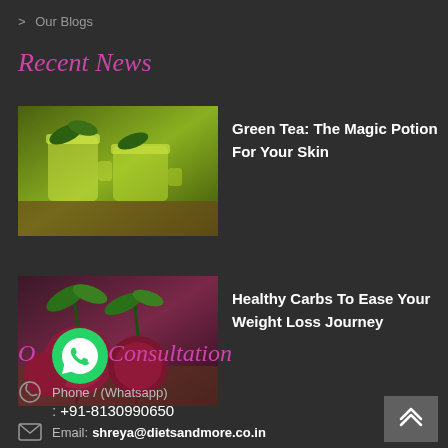> Our Blogs
Recent News
[Figure (photo): Green tea in glass mugs on wooden surface]
Green Tea: The Magic Potion For Your Skin
[Figure (photo): Red beets with green leaves on wooden surface]
Healthy Carbs To Ease Your Weight Loss Journey
Online Consultation
[Figure (logo): WhatsApp green circle logo]
Phone / (Whatsapp)
: +91-8130990650
Email: shreya@dietsandmore.co.in